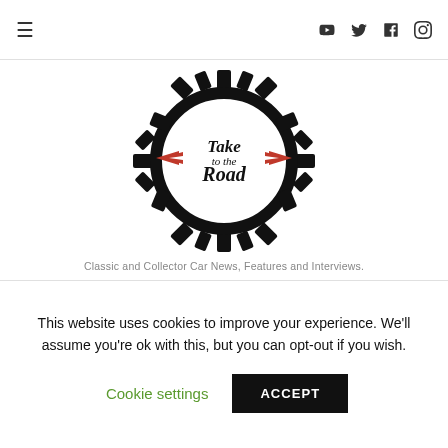≡   [social icons: YouTube, Twitter, Facebook, Instagram]
[Figure (logo): Take to the Road logo: a gear/cog wheel outline with the text 'Take to the Road' in script font inside, flanked by red wing/chevron decorations]
Classic and Collector Car News, Features and Interviews.
National Motor Museum appoints new trustees
This website uses cookies to improve your experience. We'll assume you're ok with this, but you can opt-out if you wish.
Cookie settings   ACCEPT